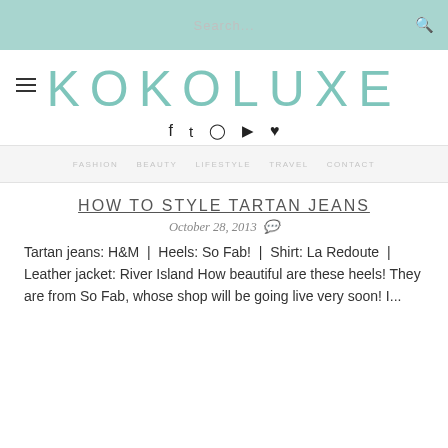Search...
KOKOLUXE
[Figure (other): Social media icons: Facebook, Twitter, Instagram, YouTube, Heart/Bloglovin]
HOW TO STYLE TARTAN JEANS
October 28, 2013
Tartan jeans: H&M  |  Heels: So Fab!  |  Shirt: La Redoute  |  Leather jacket: River Island How beautiful are these heels! They are from So Fab, whose shop will be going live very soon! I...